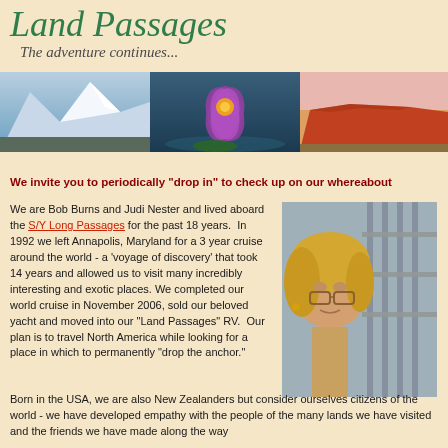Land Passages
The adventure continues...
[Figure (photo): Banner with three photos: snowy mountains, purple lotus flower, red rock formation (Uluru)]
We invite you to periodically "drop in" to check up on our whereabouts
We are Bob Burns and Judi Nester and lived aboard the S/Y Long Passages for the past 18 years. In 1992 we left Annapolis, Maryland for a 3 year cruise around the world - a 'voyage of discovery' that took 14 years and allowed us to visit many incredibly interesting and exotic places. We completed our world cruise in November 2006, sold our beloved yacht and moved into our "Land Passages" RV. Our plan is to travel North America while looking for a place in which to permanently "drop the anchor."
[Figure (photo): Portrait photo of a blonde woman wearing glasses on a boat]
Born in the USA, we are also New Zealanders but consider ourselves citizens of the world - we have developed empathy with the people of the many lands we have visited and the friends we have made along the way